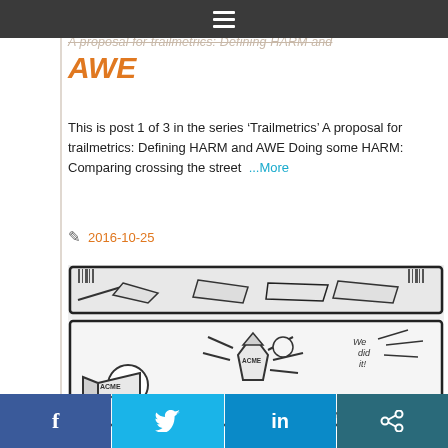Menu / hamburger navigation bar
A proposal for trailmetrics: Defining HARM and AWE
This is post 1 of 3 in the series 'Trailmetrics' A proposal for trailmetrics: Defining HARM and AWE Doing some HARM: Comparing crossing the street ...More
2016-10-25
[Figure (illustration): Cartoon comic strip showing ACME rockets with characters saying 'OH...', 'CRAP!! GET DOWN!', 'We did it!', 'I KNOW LIKE IT']
f  [Twitter bird]  in  [Share icon]